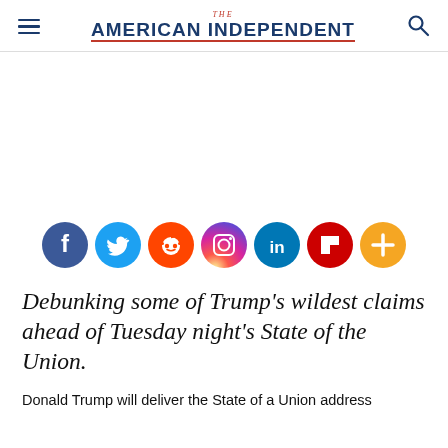THE AMERICAN INDEPENDENT
[Figure (infographic): Row of 7 social media sharing icons: Facebook (dark blue), Twitter (light blue), Reddit (orange), Instagram (gradient purple-orange), LinkedIn (teal), Flipboard (red), and a plus/more button (orange)]
Debunking some of Trump's wildest claims ahead of Tuesday night's State of the Union.
Donald Trump will deliver the State of a Union address